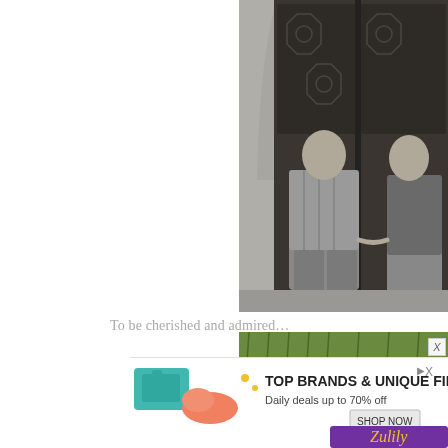[Figure (photo): Black and white photo of a couple holding hands in front of large ornate wooden doors with geometric carved patterns, set in a stone archway]
To be cherished and admired…
[Figure (photo): Partial color photo showing two people lying on green grass, visible from waist down]
[Figure (illustration): Advertisement banner for Zulily: TOP BRANDS & UNIQUE FINDS, Daily deals up to 70% off, SHOP NOW]